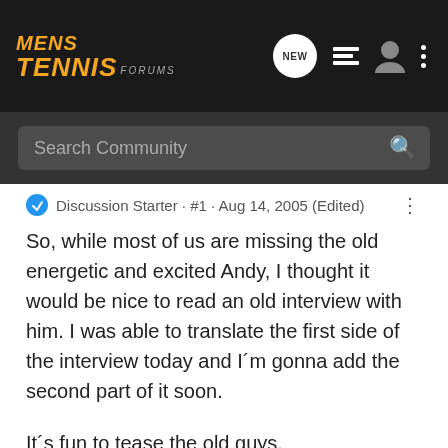[Figure (logo): Mens Tennis Forums logo in orange italic text on dark background with navigation icons (NEW bubble, list icon, user icon, dots menu)]
Search Community
Discussion Starter · #1 · Aug 14, 2005 (Edited)
So, while most of us are missing the old energetic and excited Andy, I thought it would be nice to read an old interview with him. I was able to translate the first side of the interview today and I´m gonna add the second part of it soon.
It´s fun to tease the old guys.
Andy Roddick is considered as the big american hope in tennis. He talks about his goals, his idols and he explains why participating in DC is the "ultimate commendation" in this edition of "tennis magazin".
Question: Mister Roddick, how does it feel to be considered as the successor of